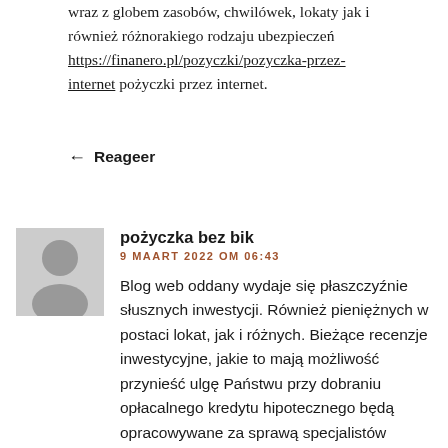wraz z globem zasobów, chwilówek, lokaty jak i również różnorakiego rodzaju ubezpieczeń https://finanero.pl/pozyczki/pozyczka-przez-internet pożyczki przez internet.
↩ Reageer
[Figure (illustration): Generic user avatar icon: grey silhouette of a person on light grey background]
pożyczka bez bik
9 MAART 2022 OM 06:43
Blog web oddany wydaje się płaszczyźnie słusznych inwestycji. Również pieniężnych w postaci lokat, jak i różnych. Bieżące recenzje inwestycyjne, jakie to mają możliwość przynieść ulgę Państwu przy dobraniu opłacalnego kredytu hipotecznego będą opracowywane za sprawą specjalistów zajmującymi się od wielu lat finansami. Najciekawsze wiadomości ze świata